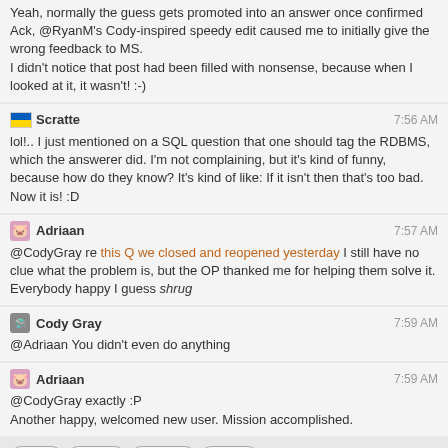Yeah, normally the guess gets promoted into an answer once confirmed
Ack, @RyanM's Cody-inspired speedy edit caused me to initially give the wrong feedback to MS.
I didn't notice that post had been filled with nonsense, because when I looked at it, it wasn't! :-)
Scratte 7:56 AM
lol!.. I just mentioned on a SQL question that one should tag the RDBMS, which the answerer did. I'm not complaining, but it's kind of funny, because how do they know? It's kind of like: If it isn't then that's too bad. Now it is! :D
Adriaan 7:57 AM
@CodyGray re this Q we closed and reopened yesterday I still have no clue what the problem is, but the OP thanked me for helping them solve it. Everybody happy I guess shrug
Cody Gray 7:59 AM
@Adriaan You didn't even do anything
Adriaan 7:59 AM
@CodyGray exactly :P
Another happy, welcomed new user. Mission accomplished.
0 - 8h  8 - 16h  16 - 22h  22 - 0h
← prev day  next day →  last day »
join this room